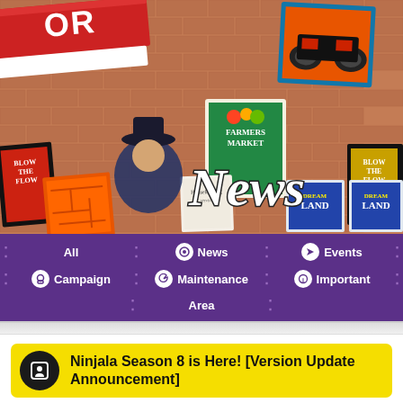[Figure (screenshot): Ninjala game news page hero image showing a colorful brick wall background with various posters and the word 'News' in large white italic font]
All | News | Events | Campaign | Maintenance | Important | Area
Ninjala Season 8 is Here! [Version Update Announcement]
Posted Dec. 02, 2021 (PST)   Updated Dec. 02, 2021 (PST)